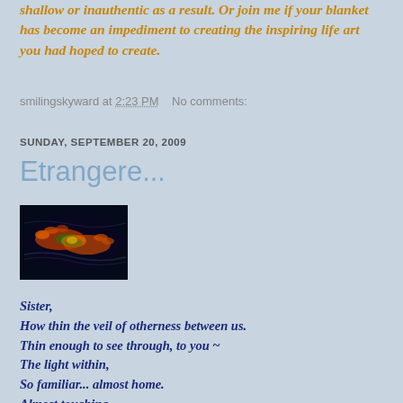shallow or inauthentic as a result. Or join me if your blanket has become an impediment to creating the inspiring life art you had hoped to create.
smilingskyward at 2:23 PM   No comments:
SUNDAY, SEPTEMBER 20, 2009
Etrangere...
[Figure (photo): Close-up artistic image of two hands clasping or touching, rendered with colorful glowing light effects (red, orange, green, yellow) against a dark background]
Sister,
How thin the veil of otherness between us.
Thin enough to see through, to you ~
The light within,
So familiar... almost home.
Almost touching,